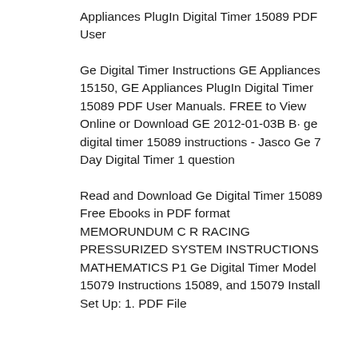Appliances PlugIn Digital Timer 15089 PDF User
Ge Digital Timer Instructions GE Appliances 15150, GE Appliances PlugIn Digital Timer 15089 PDF User Manuals. FREE to View Online or Download GE 2012-01-03B B· ge digital timer 15089 instructions - Jasco Ge 7 Day Digital Timer 1 question
Read and Download Ge Digital Timer 15089 Free Ebooks in PDF format MEMORUNDUM C R RACING PRESSURIZED SYSTEM INSTRUCTIONS MATHEMATICS P1 Ge Digital Timer Model 15079 Instructions 15089, and 15079 Install Set Up: 1. PDF File